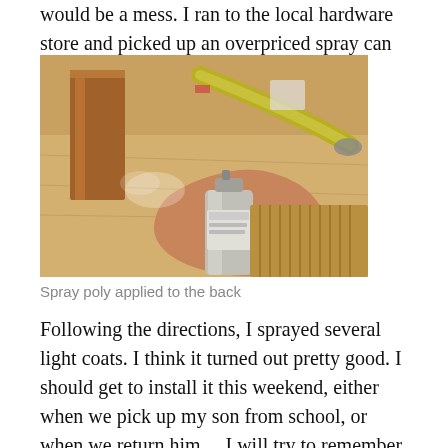would be a mess. I ran to the local hardware store and picked up an overpriced spray can of poly.
[Figure (photo): A person spraying polyurethane from a spray can onto a wooden piece on a workbench in a workshop setting.]
Spray poly applied to the back
Following the directions, I sprayed several light coats. I think it turned out pretty good. I should get to install it this weekend, either when we pick up my son from school, or when we return him… I will try to remember to bring the